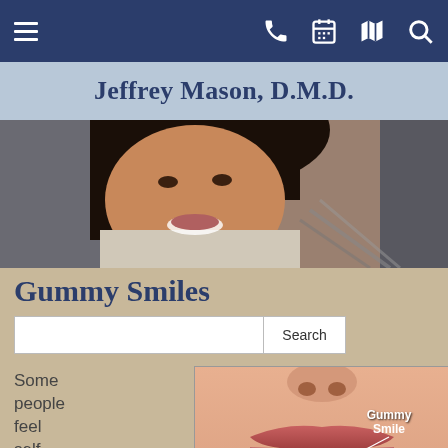Navigation bar with hamburger menu, phone, calendar, map, and search icons
Jeffrey Mason, D.M.D.
[Figure (photo): Smiling woman with dark hair, dental patient portrait photo]
Gummy Smiles
[Figure (screenshot): Search input field with Search button]
Some people feel self-
[Figure (photo): Close-up photo of a person's mouth showing teeth and gums with annotation label 'Gummy Smile' pointing to gum area with social media icons (RSS, Twitter, Facebook) overlaid at bottom right]